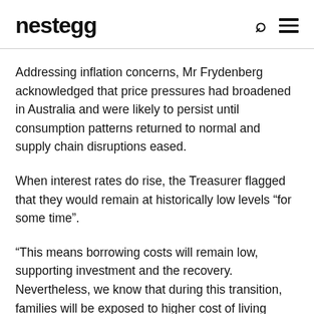nestegg
Addressing inflation concerns, Mr Frydenberg acknowledged that price pressures had broadened in Australia and were likely to persist until consumption patterns returned to normal and supply chain disruptions eased.
When interest rates do rise, the Treasurer flagged that they would remain at historically low levels “for some time”.
“This means borrowing costs will remain low, supporting investment and the recovery. Nevertheless, we know that during this transition, families will be exposed to higher cost of living pressures,” said Mr